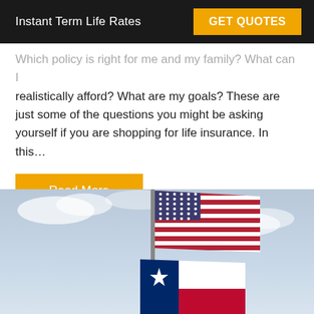Instant Term Life Rates | GET QUOTES
Which policy is right for me and my family? What can I realistically afford? What are my goals? These are just some of the questions you might be asking yourself if you are shopping for life insurance. In this…
Read More
[Figure (photo): American flag and Texas state flag flying on a flagpole against a partly cloudy sky]